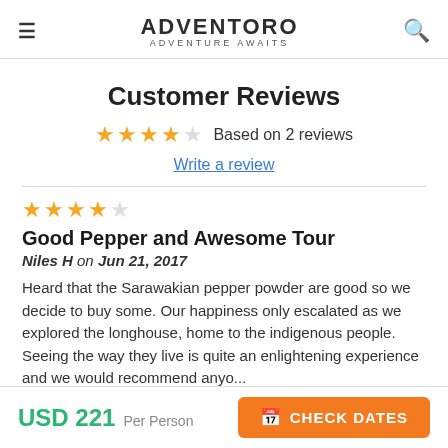ADVENTORO — ADVENTURE AWAITS
Customer Reviews
★★★★☆ Based on 2 reviews
Write a review
★★★★☆
Good Pepper and Awesome Tour
Niles H on Jun 21, 2017
Heard that the Sarawakian pepper powder are good so we decide to buy some. Our happiness only escalated as we explored the longhouse, home to the indigenous people. Seeing the way they live is quite an enlightening experience and we would recommend anyo...
USD 221  Per Person
CHECK DATES